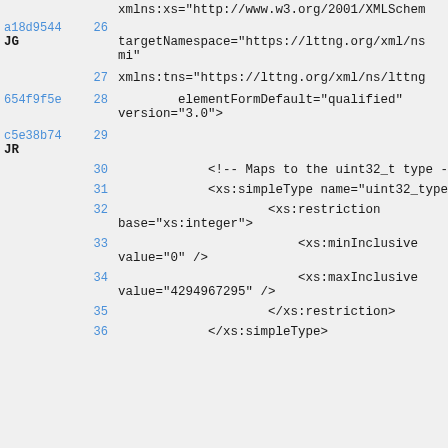xmlns:xs="http://www.w3.org/2001/XMLSche...
a18d9544 26
JG   targetNamespace="https://lttng.org/xml/ns...
     mi"
27   xmlns:tns="https://lttng.org/xml/ns/lttng...
654f9f5e 28   elementFormDefault="qualified"
     version="3.0">
c5e38b74 29
JR
     30   <!-- Maps to the uint32_t type --
     31   <xs:simpleType name="uint32_type"
     32   <xs:restriction
          base="xs:integer">
     33   <xs:minInclusive
          value="0" />
     34   <xs:maxInclusive
          value="4294967295" />
     35   </xs:restriction>
     36   </xs:simpleType>